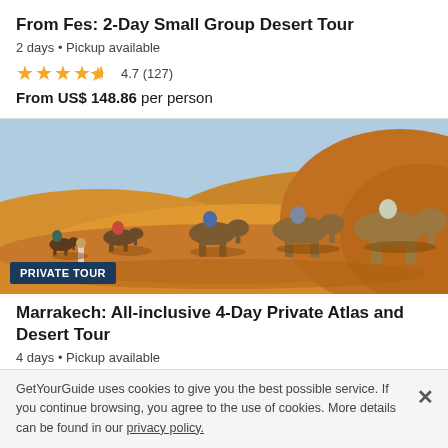From Fes: 2-Day Small Group Desert Tour
2 days • Pickup available
★★★★½ 4.7 (127)
From US$ 148.86 per person
[Figure (photo): Group of people riding camels across orange desert sand dunes in Morocco]
PRIVATE TOUR
Marrakech: All-inclusive 4-Day Private Atlas and Desert Tour
4 days • Pickup available
★★★★★ 4.9 (30)
GetYourGuide uses cookies to give you the best possible service. If you continue browsing, you agree to the use of cookies. More details can be found in our privacy policy.